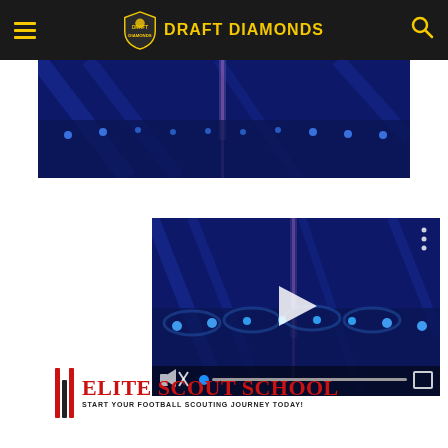Draft Diamonds
[Figure (screenshot): Blue-lit NFL stadium interior video thumbnail, dark blue tones with vertical light streak in center]
[Figure (screenshot): Video player showing blue-lit stadium, paused with play button, mute icon, progress bar with blue dot, and fullscreen icon in controls]
[Figure (logo): Elite Scout School advertisement banner with red vertical bars logo, red text reading Elite Scout School, and subtitle START YOUR FOOTBALL SCOUTING JOURNEY TODAY!]